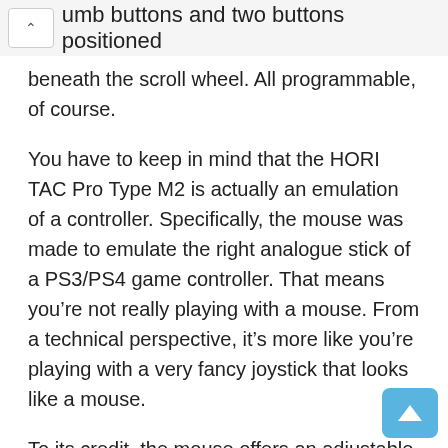umb buttons and two buttons positioned beneath the scroll wheel. All programmable, of course.
You have to keep in mind that the HORI TAC Pro Type M2 is actually an emulation of a controller. Specifically, the mouse was made to emulate the right analogue stick of a PS3/PS4 game controller. That means you're not really playing with a mouse. From a technical perspective, it's more like you're playing with a very fancy joystick that looks like a mouse.
To its credit, the mouse offers an adjustable DPI with a maximum setting of 3200, b it f d